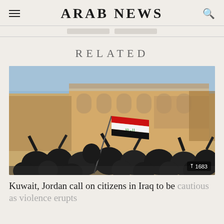ARAB NEWS
RELATED
[Figure (photo): Protesters waving an Iraqi flag in front of a building. A crowd of people, many dressed in black, are gathered outdoors with raised hands.]
Kuwait, Jordan call on citizens in Iraq to be cautious as violence erupts